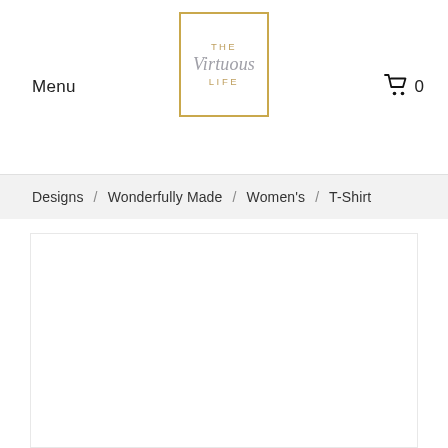Menu | The Virtuous Life | 0
Designs / Wonderfully Made / Women's / T-Shirt
[Figure (other): White product image area with light border on gray background]